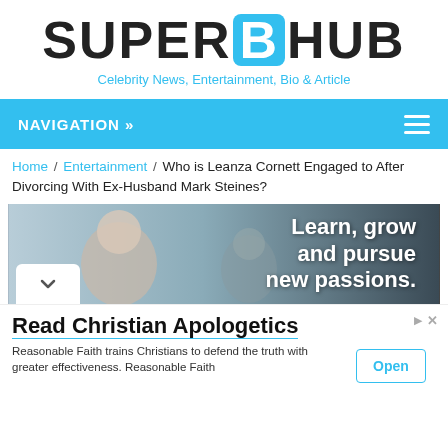SUPERBHUB - Celebrity News, Entertainment, Bio & Article
NAVIGATION »
Home / Entertainment / Who is Leanza Cornett Engaged to After Divorcing With Ex-Husband Mark Steines?
[Figure (photo): Advertisement banner: older woman and child in background with text 'Learn, grow and pursue new passions.']
[Figure (infographic): Advertisement: Read Christian Apologetics. Reasonable Faith trains Christians to defend the truth with greater effectiveness. Reasonable Faith. Open button.]